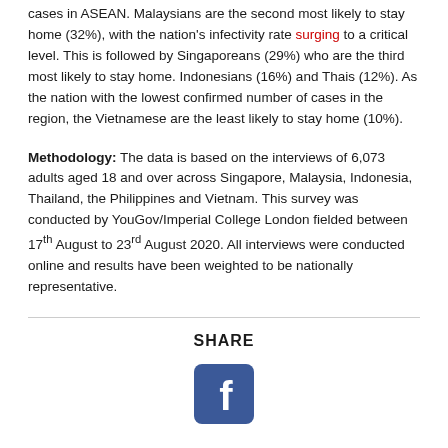cases in ASEAN. Malaysians are the second most likely to stay home (32%), with the nation's infectivity rate surging to a critical level. This is followed by Singaporeans (29%) who are the third most likely to stay home. Indonesians (16%) and Thais (12%). As the nation with the lowest confirmed number of cases in the region, the Vietnamese are the least likely to stay home (10%).
Methodology: The data is based on the interviews of 6,073 adults aged 18 and over across Singapore, Malaysia, Indonesia, Thailand, the Philippines and Vietnam. This survey was conducted by YouGov/Imperial College London fielded between 17th August to 23rd August 2020. All interviews were conducted online and results have been weighted to be nationally representative.
SHARE
[Figure (logo): Facebook social media icon - blue rounded square with white 'f' logo]